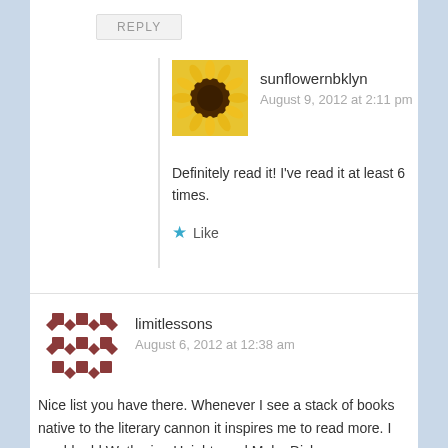REPLY
sunflowernbklyn
August 9, 2012 at 2:11 pm
Definitely read it! I've read it at least 6 times.
Like
limitlessons
August 6, 2012 at 12:38 am
Nice list you have there. Whenever I see a stack of books native to the literary cannon it inspires me to read more. I would add Wuthering Heights and Moby Dick.
Like